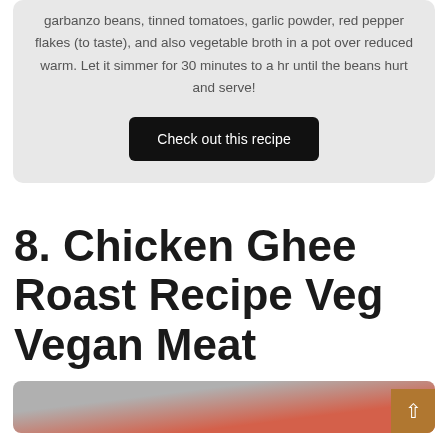garbanzo beans, tinned tomatoes, garlic powder, red pepper flakes (to taste), and also vegetable broth in a pot over reduced warm. Let it simmer for 30 minutes to a hr until the beans hurt and serve!
Check out this recipe
8. Chicken Ghee Roast Recipe Veg Vegan Meat
[Figure (photo): Partial thumbnail image of a food dish, appears reddish/orange colored food item]